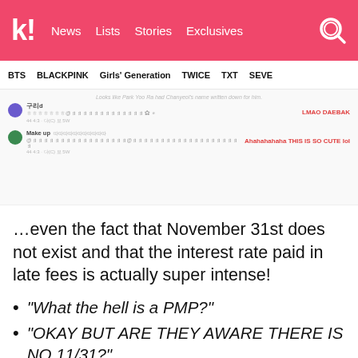k! News Lists Stories Exclusives
BTS BLACKPINK Girls' Generation TWICE TXT SEVE
[Figure (screenshot): Screenshot of tweets reacting to a Park Yoo Ra story, with comments 'LMAO DAEBAK' and 'Ahahahahaha THIS IS SO CUTE lol']
…even the fact that November 31st does not exist and that the interest rate paid in late fees is actually super intense!
"What the hell is a PMP?"
"OKAY BUT ARE THEY AWARE THERE IS NO 11/31?"
"Oh wow, people don't know what PMPs are